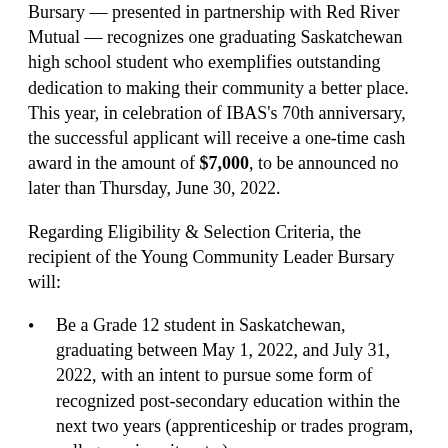Bursary — presented in partnership with Red River Mutual — recognizes one graduating Saskatchewan high school student who exemplifies outstanding dedication to making their community a better place. This year, in celebration of IBAS's 70th anniversary, the successful applicant will receive a one-time cash award in the amount of $7,000, to be announced no later than Thursday, June 30, 2022.
Regarding Eligibility & Selection Criteria, the recipient of the Young Community Leader Bursary will:
Be a Grade 12 student in Saskatchewan, graduating between May 1, 2022, and July 31, 2022, with an intent to pursue some form of recognized post-secondary education within the next two years (apprenticeship or trades program, college, university, etc.)
Demonstrate an exceptional commitment to their community through volunteerism and leadership of civic, school-based, and/or